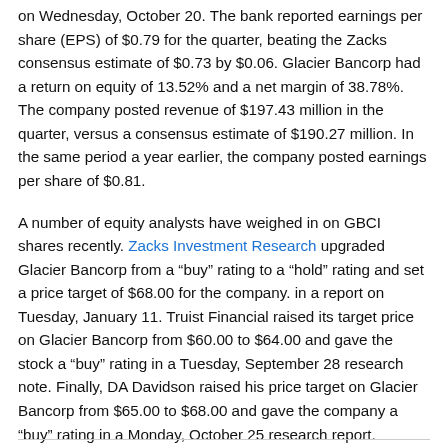on Wednesday, October 20. The bank reported earnings per share (EPS) of $0.79 for the quarter, beating the Zacks consensus estimate of $0.73 by $0.06. Glacier Bancorp had a return on equity of 13.52% and a net margin of 38.78%. The company posted revenue of $197.43 million in the quarter, versus a consensus estimate of $190.27 million. In the same period a year earlier, the company posted earnings per share of $0.81.
A number of equity analysts have weighed in on GBCI shares recently. Zacks Investment Research upgraded Glacier Bancorp from a “buy” rating to a “hold” rating and set a price target of $68.00 for the company. in a report on Tuesday, January 11. Truist Financial raised its target price on Glacier Bancorp from $60.00 to $64.00 and gave the stock a “buy” rating in a Tuesday, September 28 research note. Finally, DA Davidson raised his price target on Glacier Bancorp from $65.00 to $68.00 and gave the company a “buy” rating in a Monday, October 25 research report.